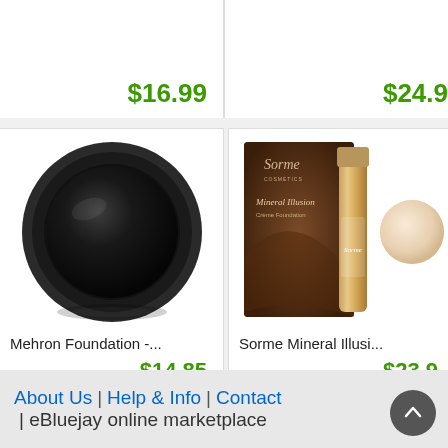$16.99
$24.9...
[Figure (photo): Black circular makeup foundation container viewed from top, dark background with reflection]
Mehron Foundation -...
$14.85
[Figure (photo): Sorme Mineral Illusion foundation bottle and box in brown packaging, with a cream colored swatch circle]
Sorme Mineral Illusi...
$23.9...
About Us | Help & Info | Contact | eBluejay online marketplace